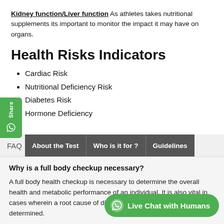Kidney function/Liver function As athletes takes nutritional supplements its important to monitor the impact it may have on organs.
Health Risks Indicators
Cardiac Risk
Nutritional Deficiency Risk
Diabetes Risk
Hormone Deficiency
FAQ | About the Test | Who is it for? | Guidelines
Why is a full body checkup necessary?
A full body health checkup is necessary to determine the overall health and metabolic performance of an individual. It is also vital in cases wherein a root cause of diseases can not be clearly determined.